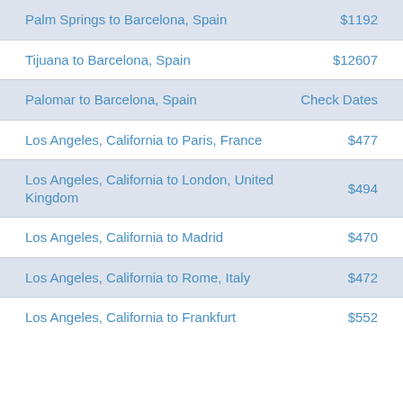Palm Springs to Barcelona, Spain — $1192
Tijuana to Barcelona, Spain — $12607
Palomar to Barcelona, Spain — Check Dates
Los Angeles, California to Paris, France — $477
Los Angeles, California to London, United Kingdom — $494
Los Angeles, California to Madrid — $470
Los Angeles, California to Rome, Italy — $472
Los Angeles, California to Frankfurt — $552